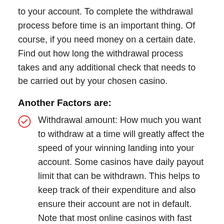to your account. To complete the withdrawal process before time is an important thing. Of course, if you need money on a certain date. Find out how long the withdrawal process takes and any additional check that needs to be carried out by your chosen casino.
Another Factors are:
Withdrawal amount: How much you want to withdraw at a time will greatly affect the speed of your winning landing into your account. Some casinos have daily payout limit that can be withdrawn. This helps to keep track of their expenditure and also ensure their account are not in default. Note that most online casinos with fast payouts will usually impose such limitations.
Location of the casino's bank account: You must also